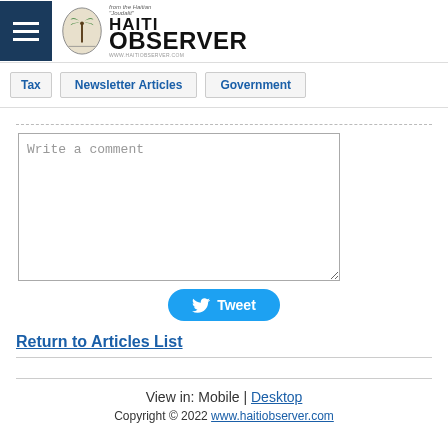[Figure (logo): Haiti Observer logo with palm tree emblem, hamburger menu icon, and 'from the Haitian Joudalit' tagline]
Tax | Newsletter Articles | Government
Write a comment
[Figure (other): Tweet button with Twitter bird icon]
Return to Articles List
View in: Mobile | Desktop
Copyright © 2022 www.haitiobserver.com